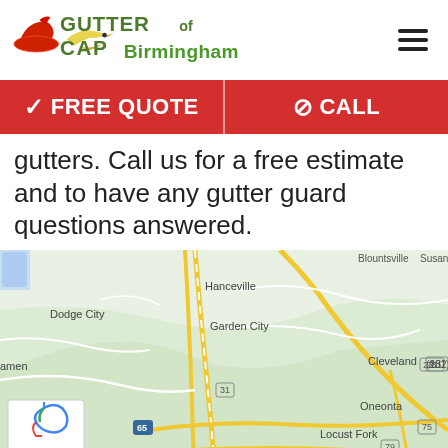[Figure (logo): Gutter Cap of Birmingham logo with red cap icon and stylized text]
FREE QUOTE   CALL
gutters. Call us for a free estimate and to have any gutter guard questions answered.
[Figure (map): Google Map showing Birmingham Alabama area including cities: Blountsville, Susan Moo, Hanceville, Dodge City, Garden City, amen, Cleveland, 231, 132, Oneonta, 75, 31, 65, Locust Fork, 79, Hayden, 160, 65, Appalach]